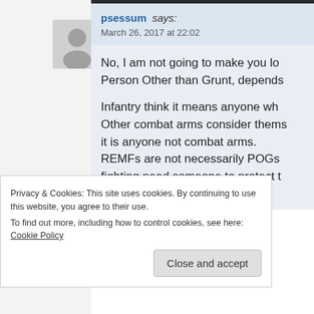[Figure (illustration): Gray default avatar silhouette icon]
psessum says: March 26, 2017 at 22:02
No, I am not going to make you lo... Person Other than Grunt, depends
Infantry think it means anyone wh... Other combat arms consider thems... it is anyone not combat arms. REMFs are not necessarily POGs ... fighting need someone to protect t... pulling guard or QRF duty.
Privacy & Cookies: This site uses cookies. By continuing to use this website, you agree to their use. To find out more, including how to control cookies, see here: Cookie Policy
Close and accept